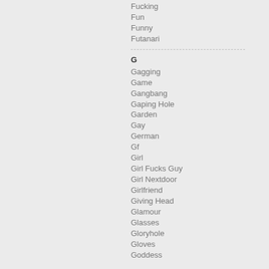Fucking
Fun
Funny
Futanari
G
Gagging
Game
Gangbang
Gaping Hole
Garden
Gay
German
Gf
Girl
Girl Fucks Guy
Girl Nextdoor
Girlfriend
Giving Head
Glamour
Glasses
Gloryhole
Gloves
Goddess